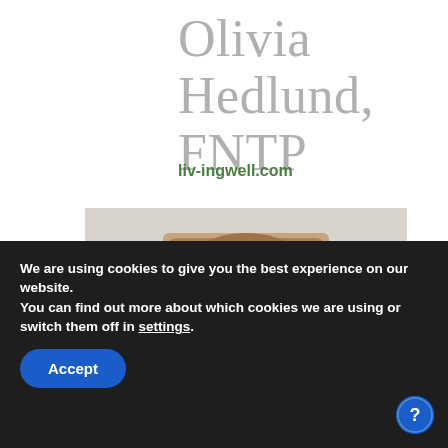Olivia Hedlund, FNTP
liv-ingwell.com
[Figure (photo): A small glass jar containing dark chocolate mixture topped with flaky sea salt, placed on a light-colored plate against a white background.]
We are using cookies to give you the best experience on our website.
You can find out more about which cookies we are using or switch them off in settings.
Accept